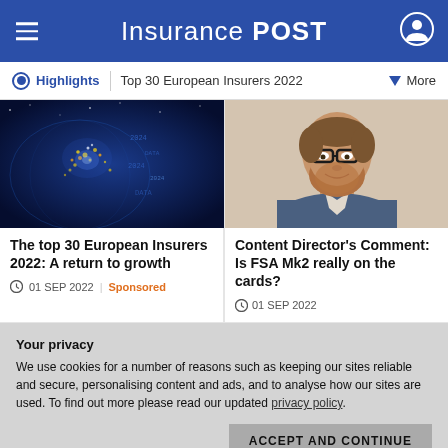Insurance POST
Highlights | Top 30 European Insurers 2022 | More
[Figure (photo): Satellite night view of Europe with glowing city lights and digital data overlay]
The top 30 European Insurers 2022: A return to growth
01 SEP 2022 | Sponsored
[Figure (photo): Headshot of a bearded man with glasses wearing a blue jacket]
Content Director's Comment: Is FSA Mk2 really on the cards?
01 SEP 2022
Your privacy
We use cookies for a number of reasons such as keeping our sites reliable and secure, personalising content and ads, and to analyse how our sites are used. To find out more please read our updated privacy policy.
ACCEPT AND CONTINUE